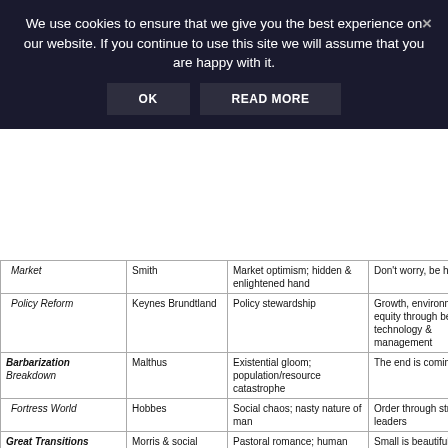We use cookies to ensure that we give you the best experience on our website. If you continue to use this site we will assume that you are happy with it.
|  | Thinker/Tradition | Core Assumptions | Slogan |
| --- | --- | --- | --- |
| Market | Smith | Market optimism; hidden & enlightened hand | Don't worry, be happy |
| Policy Reform | Keynes Brundtland | Policy stewardship | Growth, environment, equity through better technology & management |
| Barbarization Breakdown | Malthus | Existential gloom; population/resource catastrophe | The end is coming |
| Fortress World | Hobbes | Social chaos; nasty nature of man | Order through strong leaders |
| Great Transitions Eco-communalism | Morris & social utopians Ghandhi | Pastoral romance; human goodness; evil of industrialism | Small is beautiful |
| New Sustainability Paradigm | Mill | Sustainability as progressive global social evolution | Human solidarity, new values, the art of living |
| Muddling Through | Your brother-in-law (probably) | No grand philosophies | Que será, será |